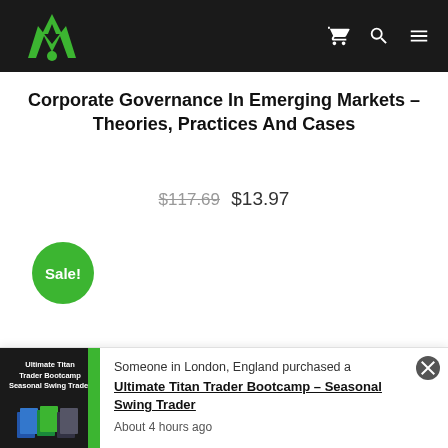Navigation header with logo and icons
Corporate Governance In Emerging Markets – Theories, Practices And Cases
$117.69 $13.97
[Figure (other): Green circular sale badge reading 'Sale!']
[Figure (other): Notification bar showing product purchase: Ultimate Titan Trader Bootcamp – Seasonal Swing Trader, purchased by someone in London, England, about 4 hours ago]